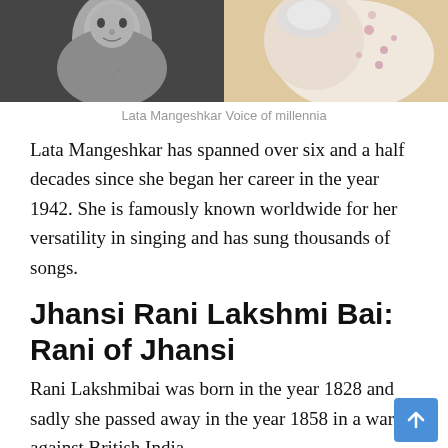[Figure (photo): Two photos side by side: left is a black and white photo of Lata Mangeshkar, right is a color photo of Lata Mangeshkar in a floral sari]
Lata Mangeshkar Voice of millennia
Lata Mangeshkar has spanned over six and a half decades since she began her career in the year 1942. She is famously known worldwide for her versatility in singing and has sung thousands of songs.
Jhansi Rani Lakshmi Bai: Rani of Jhansi
Rani Lakshmibai was born in the year 1828 and sadly she passed away in the year 1858 in a war against British India.